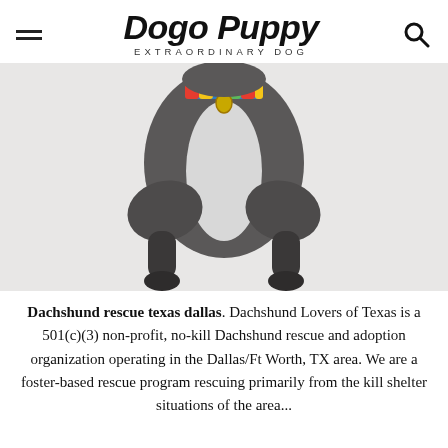Dogo Puppy EXTRAORDINARY DOG
[Figure (photo): A dog photographed from behind/above, showing its back, haunches and paws against a white background, wearing a colorful collar]
Dachshund rescue texas dallas. Dachshund Lovers of Texas is a 501(c)(3) non-profit, no-kill Dachshund rescue and adoption organization operating in the Dallas/Ft Worth, TX area. We are a foster-based rescue program rescuing primarily from the kill shelter situations of the area...